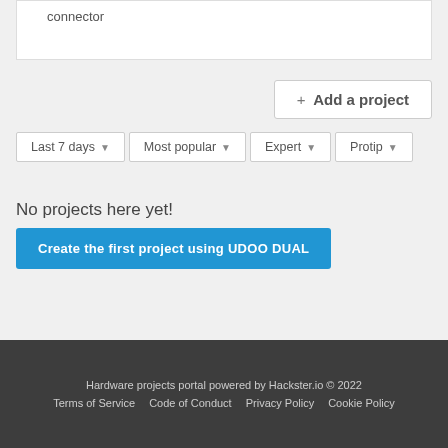connector
+ Add a project
Last 7 days ▼
Most popular ▼
Expert ▼
Protip ▼
No projects here yet!
Create the first project using UDOO DUAL
Hardware projects portal powered by Hackster.io © 2022
Terms of Service  Code of Conduct  Privacy Policy  Cookie Policy